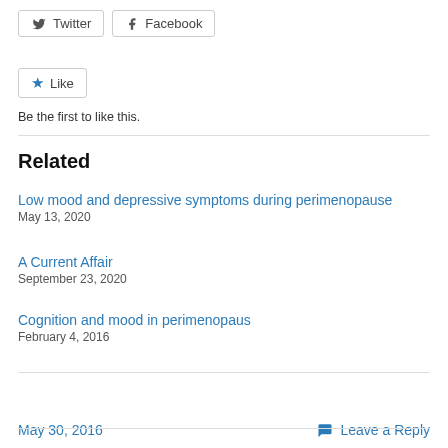[Figure (other): Social share buttons: Twitter and Facebook]
[Figure (other): Like button widget with star icon]
Be the first to like this.
Related
Low mood and depressive symptoms during perimenopause
May 13, 2020
A Current Affair
September 23, 2020
Cognition and mood in perimenopaus
February 4, 2016
May 30, 2016
Leave a Reply